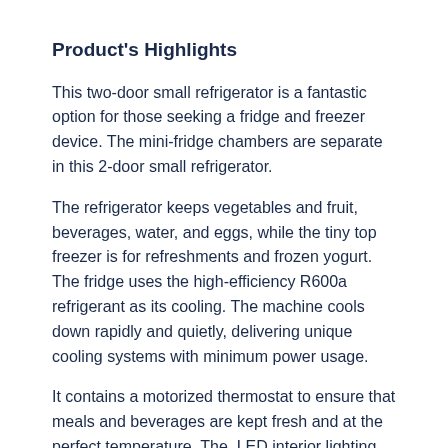Product's Highlights
This two-door small refrigerator is a fantastic option for those seeking a fridge and freezer device. The mini-fridge chambers are separate in this 2-door small refrigerator.
The refrigerator keeps vegetables and fruit, beverages, water, and eggs, while the tiny top freezer is for refreshments and frozen yogurt. The fridge uses the high-efficiency R600a refrigerant as its cooling. The machine cools down rapidly and quietly, delivering unique cooling systems with minimum power usage.
It contains a motorized thermostat to ensure that meals and beverages are kept fresh and at the perfect temperature. The  LED interior lighting, especially at night, makes it easier to locate your